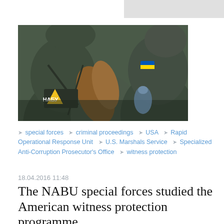[Figure (photo): Close-up photograph of people in dark tactical/military uniforms with НАБУ (NABU) patch visible on sleeve, Ukrainian flag patch on arm, crowded together outdoors.]
special forces  criminal proceedings  USA  Rapid Operational Response Unit  U.S. Marshals Service  Specialized Anti-Corruption Prosecutor's Office  witness protection
18.04.2016 11:48
The NABU special forces studied the American witness protection programme
The employees of the National Bureau's Special Operations Department studied the experience of their colleagues from the U.S. Marshals Service in the sphere of witness protection in